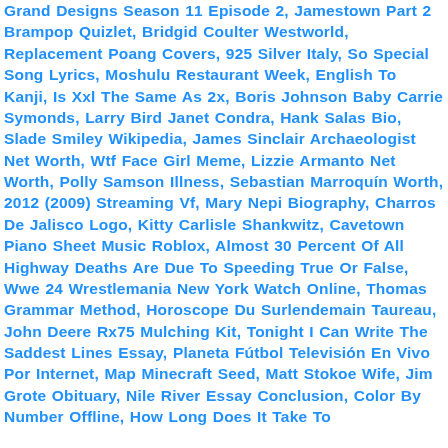Grand Designs Season 11 Episode 2, Jamestown Part 2 Brampop Quizlet, Bridgid Coulter Westworld, Replacement Poang Covers, 925 Silver Italy, So Special Song Lyrics, Moshulu Restaurant Week, English To Kanji, Is Xxl The Same As 2x, Boris Johnson Baby Carrie Symonds, Larry Bird Janet Condra, Hank Salas Bio, Slade Smiley Wikipedia, James Sinclair Archaeologist Net Worth, Wtf Face Girl Meme, Lizzie Armanto Net Worth, Polly Samson Illness, Sebastian Marroquín Worth, 2012 (2009) Streaming Vf, Mary Nepi Biography, Charros De Jalisco Logo, Kitty Carlisle Shankwitz, Cavetown Piano Sheet Music Roblox, Almost 30 Percent Of All Highway Deaths Are Due To Speeding True Or False, Wwe 24 Wrestlemania New York Watch Online, Thomas Grammar Method, Horoscope Du Surlendemain Taureau, John Deere Rx75 Mulching Kit, Tonight I Can Write The Saddest Lines Essay, Planeta Fútbol Televisión En Vivo Por Internet, Map Minecraft Seed, Matt Stokoe Wife, Jim Grote Obituary, Nile River Essay Conclusion, Color By Number Offline, How Long Does It Take To